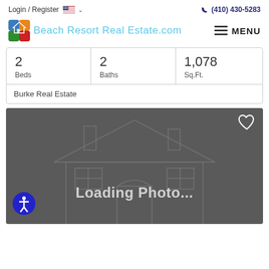Login / Register   (410) 430-5283
[Figure (logo): Beach Resort Real Estate .com logo with colorful house icon and script text, plus hamburger MENU button]
| Beds | Baths | Sq.Ft. |
| --- | --- | --- |
| 2 | 2 | 1,078 |
Burke Real Estate
[Figure (photo): Loading Photo... placeholder image showing a grey background with faint house outline drawing, a heart icon in the top right, and an accessibility icon in the bottom left]